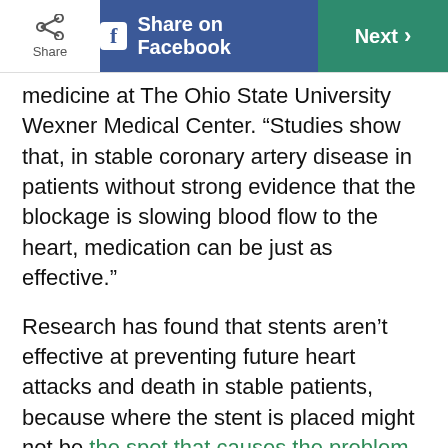Share | Share on Facebook | Next >
medicine at The Ohio State University Wexner Medical Center. “Studies show that, in stable coronary artery disease in patients without strong evidence that the blockage is slowing blood flow to the heart, medication can be just as effective.”
Research has found that stents aren’t effective at preventing future heart attacks and death in stable patients, because where the stent is placed might not be the spot that causes the problem down the line. Plus, the surgery carries risks. But, Dr. Capers notes that stents do provide patients with relief of daily chest pain, and if used, should be part of a broad treatment plan that also includes medications, exercise, healthy diet, and reduced stress levels.